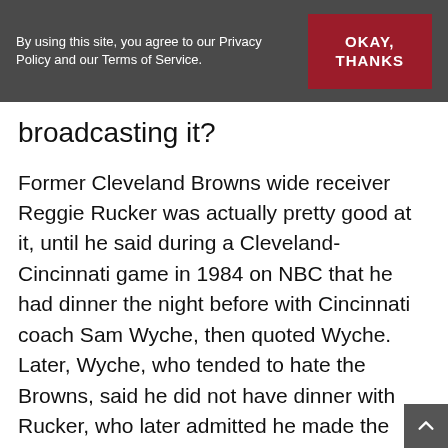By using this site, you agree to our Privacy Policy and our Terms of Service.
OKAY, THANKS
broadcasting it?
Former Cleveland Browns wide receiver Reggie Rucker was actually pretty good at it, until he said during a Cleveland-Cincinnati game in 1984 on NBC that he had dinner the night before with Cincinnati coach Sam Wyche, then quoted Wyche. Later, Wyche, who tended to hate the Browns, said he did not have dinner with Rucker, who later admitted he made the story up.
Former New Orleans Saints quarterback Drew Brees
likely never made anything up during his 2021 season at NBC doing NFL games from the studio and a few